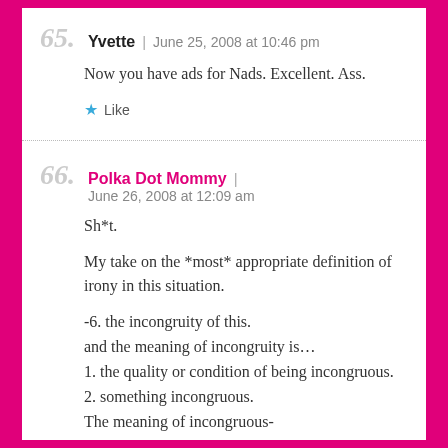65. Yvette | June 25, 2008 at 10:46 pm
Now you have ads for Nads. Excellent. Ass.
★ Like
66. Polka Dot Mommy | June 26, 2008 at 12:09 am
Sh*t.
My take on the *most* appropriate definition of irony in this situation.
-6. the incongruity of this.
and the meaning of incongruity is…
1. the quality or condition of being incongruous.
2. something incongruous.
The meaning of incongruous-